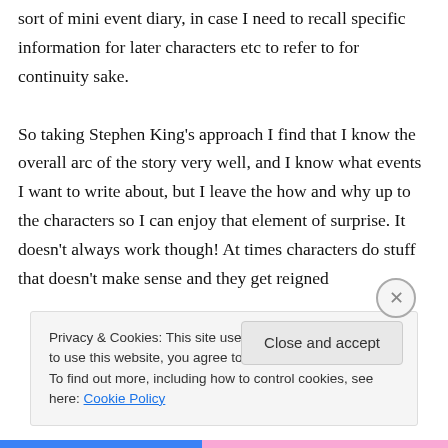sort of mini event diary, in case I need to recall specific information for later characters etc to refer to for continuity sake.

So taking Stephen King's approach I find that I know the overall arc of the story very well, and I know what events I want to write about, but I leave the how and why up to the characters so I can enjoy that element of surprise. It doesn't always work though! At times characters do stuff that doesn't make sense and they get reigned
Privacy & Cookies: This site uses cookies. By continuing to use this website, you agree to their use.
To find out more, including how to control cookies, see here: Cookie Policy
Close and accept